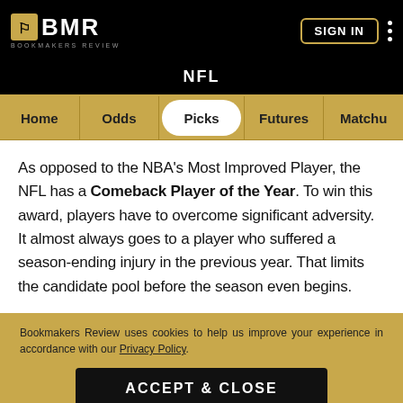BMR Bookmakers Review — SIGN IN
NFL
Home | Odds | Picks | Futures | Matchu
As opposed to the NBA's Most Improved Player, the NFL has a Comeback Player of the Year. To win this award, players have to overcome significant adversity. It almost always goes to a player who suffered a season-ending injury in the previous year. That limits the candidate pool before the season even begins.
Bookmakers Review uses cookies to help us improve your experience in accordance with our Privacy Policy.
ACCEPT & CLOSE
SPORTSBOOKS | TODAY | ODDS | COMMUNITY | LEARN